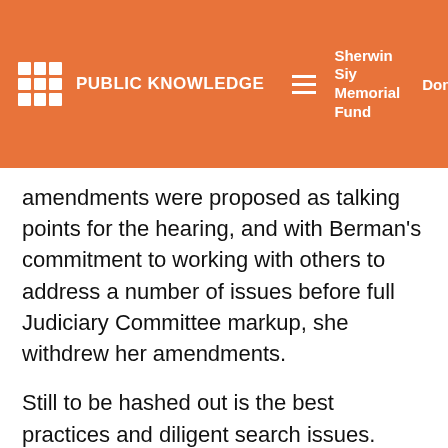PUBLIC KNOWLEDGE | Sherwin Siy Memorial Fund | Donate
amendments were proposed as talking points for the hearing, and with Berman's commitment to working with others to address a number of issues before full Judiciary Committee markup, she withdrew her amendments.
Still to be hashed out is the best practices and diligent search issues. Similarly minded parties agree that best practices have to provide certainty to users, but may differ on where that certainty should be placed in the process.